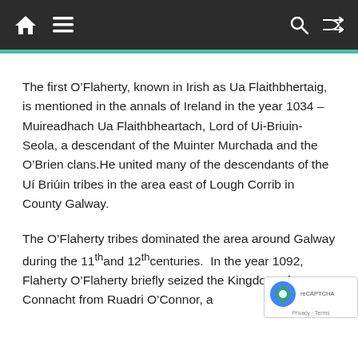Home | Menu | Search | Shuffle
The first O’Flaherty, known in Irish as Ua Flaithbhertaig, is mentioned in the annals of Ireland in the year 1034 – Muireadhach Ua Flaithbheartach, Lord of Ui-Briuin-Seola, a descendant of the Muinter Murchada and the O’Brien clans.He united many of the descendants of the Uí Briúin tribes in the area east of Lough Corrib in County Galway.
The O’Flaherty tribes dominated the area around Galway during the 11th and 12th centuries.  In the year 1092, Flaherty O’Flaherty briefly seized the Kingdom of Connacht from Ruadri O’Connor, a